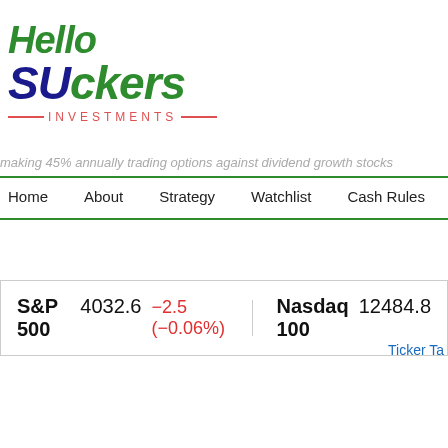[Figure (logo): Hello Suckers Investments logo with green and blue comic-style lettering and red dashed INVESTMENTS text]
making 45% annually trading options against dividend growth stocks
Home   About   Strategy   Watchlist   Cash Rules   Trades & Income
S&P 500  4032.6  −2.5 (−0.06%)   Nasdaq 100  12484.8
Ticker Ta